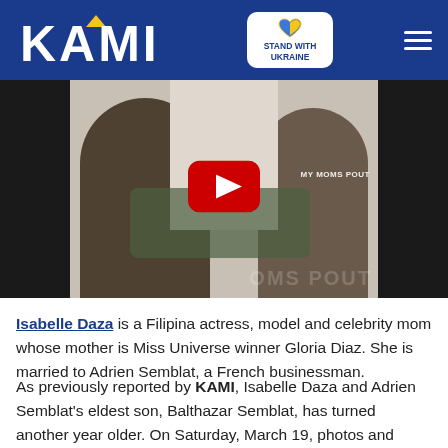KAMI | STAND WITH UKRAINE
[Figure (screenshot): YouTube video thumbnail showing two women sitting together, one showing documents to the other. Text visible: 'MY MOMS POUT']
Isabelle Daza is a Filipina actress, model and celebrity mom whose mother is Miss Universe winner Gloria Diaz. She is married to Adrien Semblat, a French businessman.
As previously reported by KAMI, Isabelle Daza and Adrien Semblat's eldest son, Balthazar Semblat, has turned another year older. On Saturday, March 19, photos and videos from his Safari-themed birthday party went viral. Netizens were also stunned as Isabelle went all out for the party, even